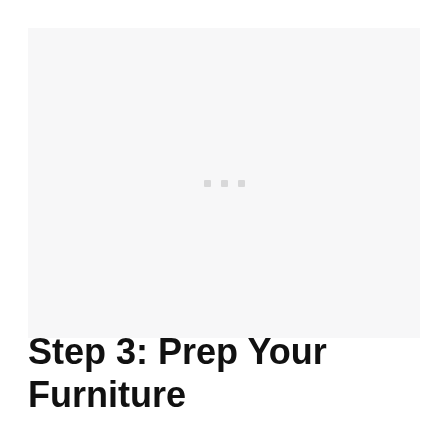[Figure (photo): Placeholder image area with three small light gray squares centered, indicating an image loading or placeholder state]
Step 3: Prep Your Furniture